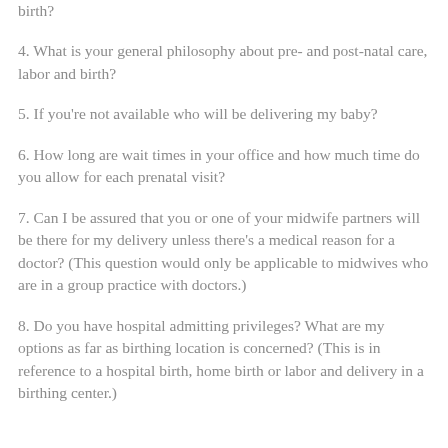birth?
4. What is your general philosophy about pre- and post-natal care, labor and birth?
5. If you're not available who will be delivering my baby?
6. How long are wait times in your office and how much time do you allow for each prenatal visit?
7. Can I be assured that you or one of your midwife partners will be there for my delivery unless there's a medical reason for a doctor? (This question would only be applicable to midwives who are in a group practice with doctors.)
8. Do you have hospital admitting privileges? What are my options as far as birthing location is concerned? (This is in reference to a hospital birth, home birth or labor and delivery in a birthing center.)